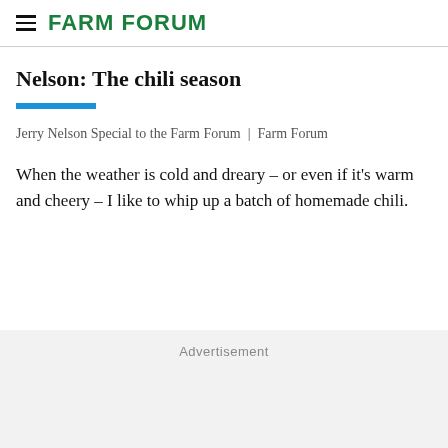FARM FORUM
Nelson: The chili season
Jerry Nelson Special to the Farm Forum | Farm Forum
When the weather is cold and dreary – or even if it's warm and cheery – I like to whip up a batch of homemade chili.
Advertisement